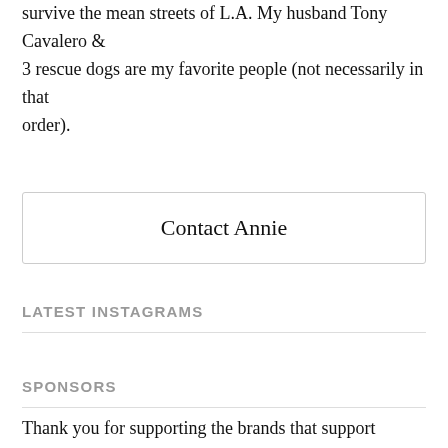survive the mean streets of L.A. My husband Tony Cavalero & 3 rescue dogs are my favorite people (not necessarily in that order).
Contact Annie
LATEST INSTAGRAMS
SPONSORS
Thank you for supporting the brands that support Heels in the Hills + keep this blog running!